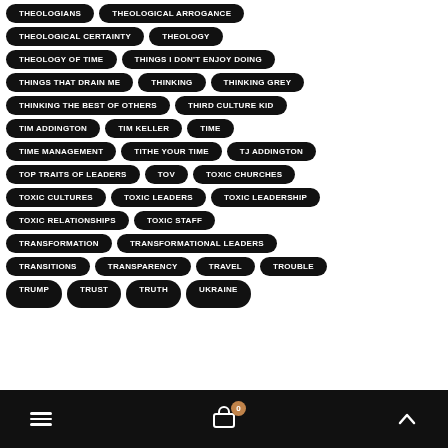THEOLOGIANS
THEOLOGICAL ARROGANCE
THEOLOGICAL CERTAINTY
THEOLOGY
THEOLOGY OF TIME
THINGS I DON'T ENJOY DOING
THINGS THAT DRAIN ME
THINKING
THINKING GREY
THINKING THE BEST OF OTHERS
THIRD CULTURE KID
TIM ADDINGTON
TIM KELLER
TIME
TIME MANAGEMENT
TITHE YOUR TIME
TJ ADDINGTON
TOP TRAITS OF LEADERS
TOV
TOXIC CHURCHES
TOXIC CULTURES
TOXIC LEADERS
TOXIC LEADERSHIP
TOXIC RELATIONSHIPS
TOXIC STAFF
TRANSFORMATION
TRANSFORMATIONAL LEADERS
TRANSITIONS
TRANSPARENCY
TRAVEL
TROUBLE
TRUMP
TRUST
TRUTH
UKRAINE
≡  🛒 0  ∧